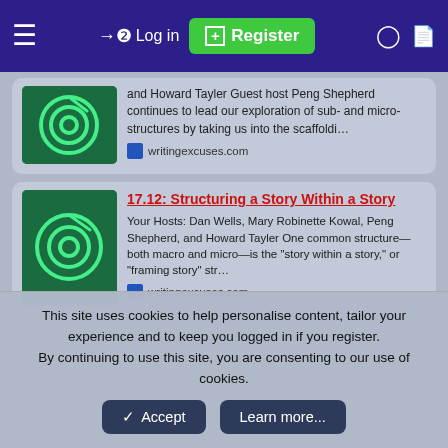Log in  Register
and Howard Tayler Guest host Peng Shepherd continues to lead our exploration of sub- and micro-structures by taking us into the scaffoldi… writingexcuses.com
17.12: Structuring a Story Within a Story
Your Hosts: Dan Wells, Mary Robinette Kowal, Peng Shepherd, and Howard Tayler One common structure—both macro and micro—is the "story within a story," or "framing story" str… writingexcuses.com
17.13: Structuring Around a Thing
Your Hosts: Dan Wells, Mary Robinette Kowal, Peng Shepherd, and Howard Tayler Some structuring for each episode...
This site uses cookies to help personalise content, tailor your experience and to keep you logged in if you register.
By continuing to use this site, you are consenting to our use of cookies.